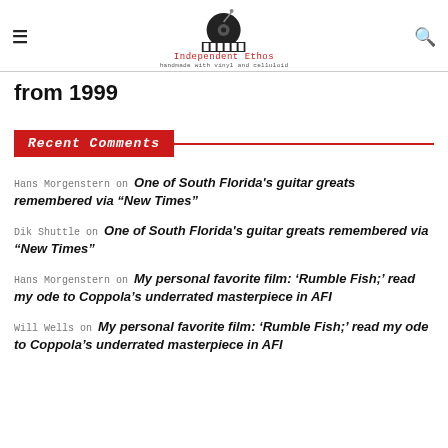Independent Ethos — handmade with vinyl and celluloid
from 1999
Recent Comments
Hans Morgenstern on One of South Florida's guitar greats remembered via "New Times"
Dik Shuttle on One of South Florida's guitar greats remembered via "New Times"
Hans Morgenstern on My personal favorite film: 'Rumble Fish;' read my ode to Coppola's underrated masterpiece in AFI
Will Wells on My personal favorite film: 'Rumble Fish;' read my ode to Coppola's underrated masterpiece in AFI